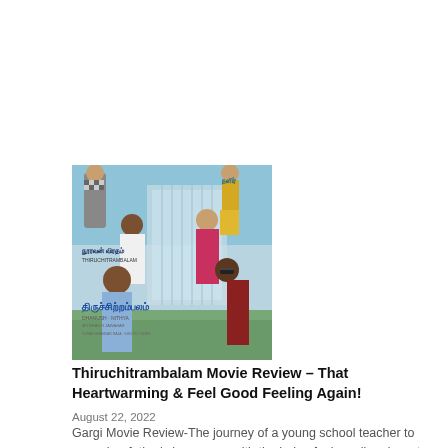[Figure (photo): Movie poster for Thiruchitrambalam (Tamil film) showing multiple characters standing, with Tamil text overlaid on a building/landscape background]
Thiruchitrambalam Movie Review – That Heartwarming & Feel Good Feeling Again!
August 22, 2022
Gargi Movie Review-The journey of a young school teacher to prove her father's innocence with the help of a juvenile advocate who's never even seen the interiors of a court hall.